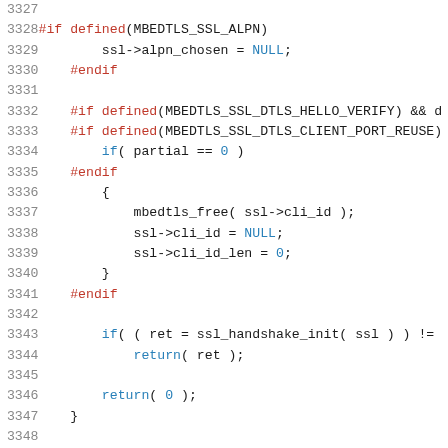Source code listing lines 3327-3348, C code with syntax highlighting